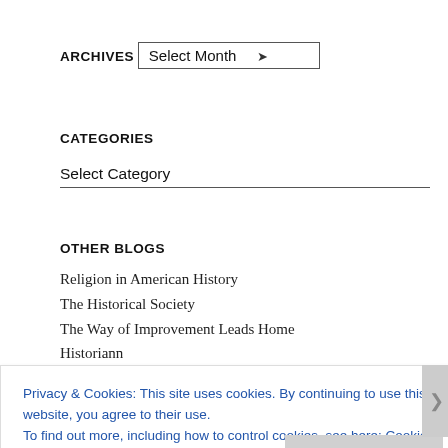ARCHIVES
Select Month ▾
CATEGORIES
Select Category
OTHER BLOGS
Religion in American History
The Historical Society
The Way of Improvement Leads Home
Historiann
Boston 1775
U.S. Intellectual History
Privacy & Cookies: This site uses cookies. By continuing to use this website, you agree to their use.
To find out more, including how to control cookies, see here: Cookie Policy
Close and accept